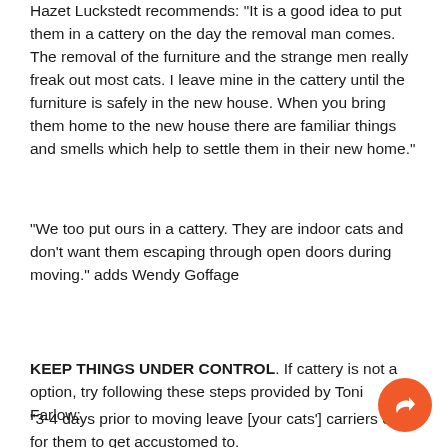Hazet Luckstedt recommends: "It is a good idea to put them in a cattery on the day the removal man comes. The removal of the furniture and the strange men really freak out most cats. I leave mine in the cattery until the furniture is safely in the new house. When you bring them home to the new house there are familiar things and smells which help to settle them in their new home."
"We too put ours in a cattery. They are indoor cats and don't want them escaping through open doors during moving." adds Wendy Goffage
KEEP THINGS UNDER CONTROL. If cattery is not a option, try following these steps provided by Toni Farlow:
"3-4 days prior to moving leave [your cats'] carriers out for them to get accustomed to.
On the day of moving, keep them in a room that won't be accessed until you finally go.
Put them in carriers and take to new home. DO NOT LET